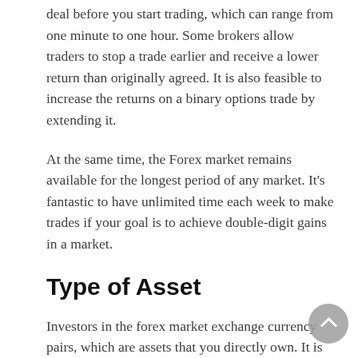deal before you start trading, which can range from one minute to one hour. Some brokers allow traders to stop a trade earlier and receive a lower return than originally agreed. It is also feasible to increase the returns on a binary options trade by extending it.
At the same time, the Forex market remains available for the longest period of any market. It's fantastic to have unlimited time each week to make trades if your goal is to achieve double-digit gains in a market.
Type of Asset
Investors in the forex market exchange currency pairs, which are assets that you directly own. It is referred to as spot trading. Asset derivatives are what options are called. As a result, you can trade forex currency pairs as